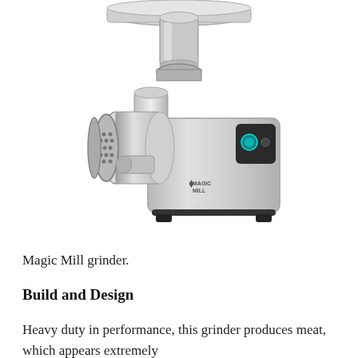[Figure (photo): A Magic Mill electric meat grinder with stainless steel body, grinding head attachment, feeding tray on top, and control buttons on the front panel. The Magic Mill logo is visible on the front.]
Magic Mill grinder.
Build and Design
Heavy duty in performance, this grinder produces meat, which appears extremely